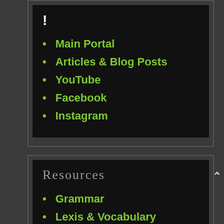!
Main Portal
Articles & Blog Posts
YouTube
Facebook
Instagram
Resources
Grammar
Lexis & Vocabulary
Pronunciation